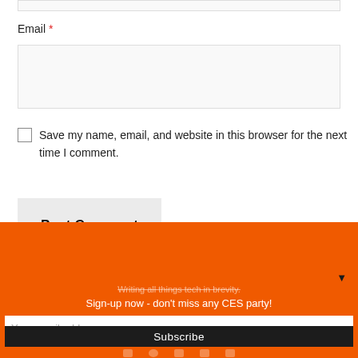Email *
Save my name, email, and website in this browser for the next time I comment.
Post Comment
Writing all things tech in brevity.
Sign-up now - don't miss any CES party!
Your email address...
Subscribe